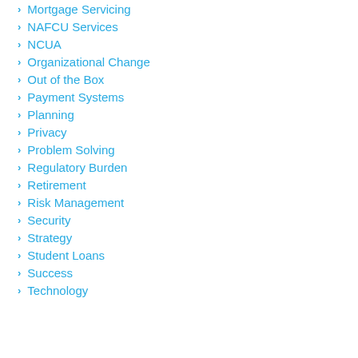Mortgage Servicing
NAFCU Services
NCUA
Organizational Change
Out of the Box
Payment Systems
Planning
Privacy
Problem Solving
Regulatory Burden
Retirement
Risk Management
Security
Strategy
Student Loans
Success
Technology